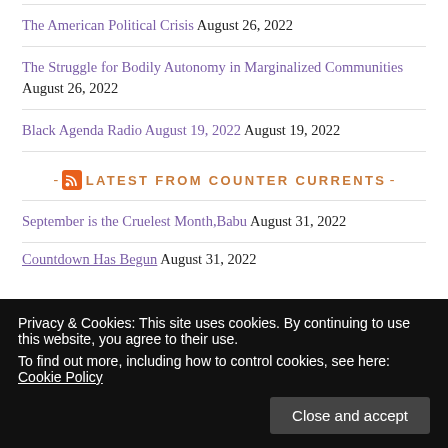The American Political Crisis August 26, 2022
The Struggle for Bodily Autonomy in Marginalized Communities August 26, 2022
Black Agenda Radio August 19, 2022 August 19, 2022
- LATEST FROM COUNTER CURRENTS -
September is the Cruelest Month,Babu August 31, 2022
Countdown Has Begun August 31, 2022
Privacy & Cookies: This site uses cookies. By continuing to use this website, you agree to their use. To find out more, including how to control cookies, see here: Cookie Policy
What Zionists are doing is also Jewish August 31, 2022